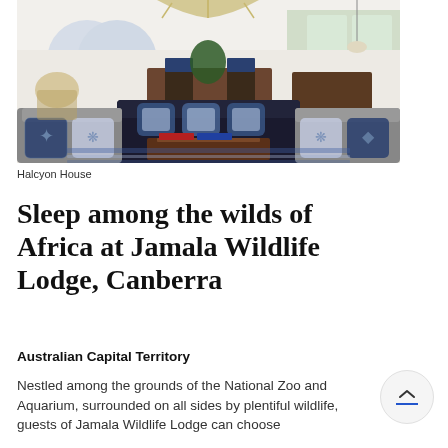[Figure (photo): Interior of Halcyon House showing a stylish living room with dark sofas, blue and white patterned cushions, blue lamp shades, a central coffee table with books, arched windows letting in natural light, and rattan chairs in the background.]
Halcyon House
Sleep among the wilds of Africa at Jamala Wildlife Lodge, Canberra
Australian Capital Territory
Nestled among the grounds of the National Zoo and Aquarium, surrounded on all sides by plentiful wildlife, guests of Jamala Wildlife Lodge can choose